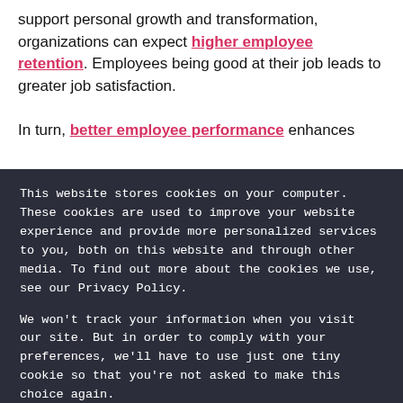When combined with other programs that support personal growth and transformation, organizations can expect higher employee retention. Employees being good at their job leads to greater job satisfaction.

In turn, better employee performance enhances
This website stores cookies on your computer. These cookies are used to improve your website experience and provide more personalized services to you, both on this website and through other media. To find out more about the cookies we use, see our Privacy Policy.

We won't track your information when you visit our site. But in order to comply with your preferences, we'll have to use just one tiny cookie so that you're not asked to make this choice again.